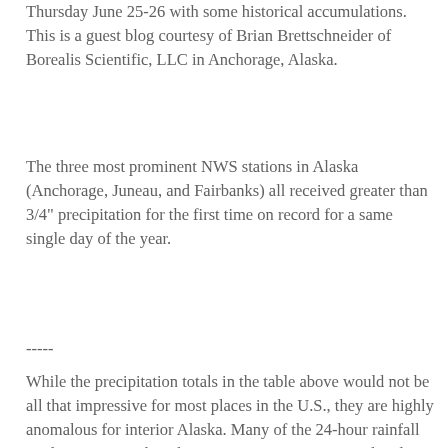Thursday June 25-26 with some historical accumulations. This is a guest blog courtesy of Brian Brettschneider of Borealis Scientific, LLC in Anchorage, Alaska.
The three most prominent NWS stations in Alaska (Anchorage, Juneau, and Fairbanks) all received greater than 3/4" precipitation for the first time on record for a same single day of the year.
-----
While the precipitation totals in the table above would not be all that impressive for most places in the U.S., they are highly anomalous for interior Alaska. Many of the 24-hour rainfall totals are greater than the 10-year recurrence interval and in some case approach the 25-year recurrence interval according to the NOAA Precipitation Frequency Atlas for Alaska (e.g., the 24-hour total at Wonder Lake is slightly less than the 25-year recurrence interval).
-----